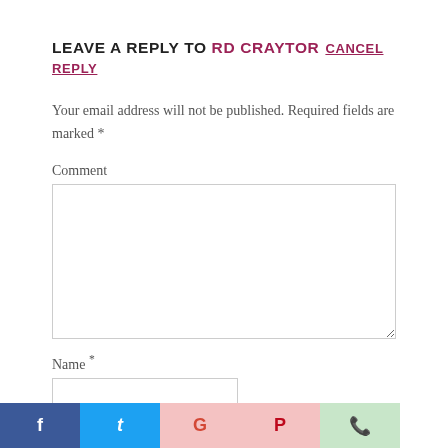LEAVE A REPLY TO RD CRAYTOR CANCEL REPLY
Your email address will not be published. Required fields are marked *
Comment
Name *
Email *